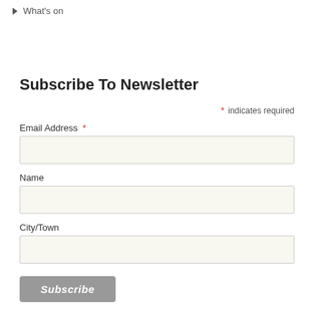What's on
Subscribe To Newsletter
* indicates required
Email Address *
Name
City/Town
Subscribe